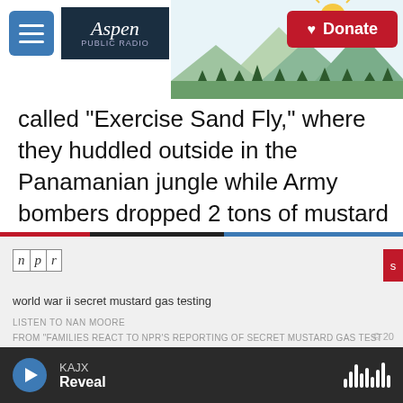Aspen Public Radio | Donate
called "Exercise Sand Fly," where they huddled outside in the Panamanian jungle while Army bombers dropped 2 tons of mustard gas down onto them.
[Figure (screenshot): NPR embedded audio player showing 'world war ii secret mustard gas testing', with listen button and progress bar, credited to Nan Moore from 'Families React To NPR's Reporting Of Secret Mustard Gas Test']
KAJX | Reveal